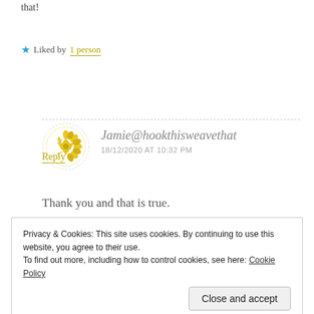that!
★ Liked by 1 person
Reply
[Figure (logo): Yellow floral/geometric circular avatar icon for Jamie@hookthisweavethat]
Jamie@hookthisweavethat
18/12/2020 AT 10:32 PM
Thank you and that is true.
Privacy & Cookies: This site uses cookies. By continuing to use this website, you agree to their use.
To find out more, including how to control cookies, see here: Cookie Policy
Close and accept